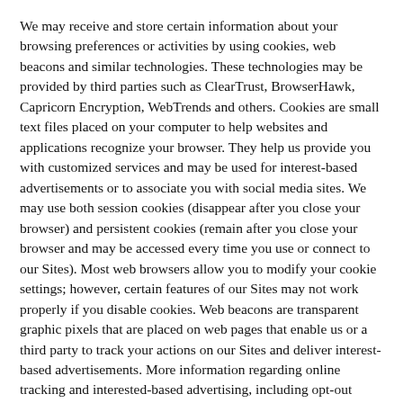We may receive and store certain information about your browsing preferences or activities by using cookies, web beacons and similar technologies. These technologies may be provided by third parties such as ClearTrust, BrowserHawk, Capricorn Encryption, WebTrends and others. Cookies are small text files placed on your computer to help websites and applications recognize your browser. They help us provide you with customized services and may be used for interest-based advertisements or to associate you with social media sites. We may use both session cookies (disappear after you close your browser) and persistent cookies (remain after you close your browser and may be accessed every time you use or connect to our Sites). Most web browsers allow you to modify your cookie settings; however, certain features of our Sites may not work properly if you disable cookies. Web beacons are transparent graphic pixels that are placed on web pages that enable us or a third party to track your actions on our Sites and deliver interest-based advertisements. More information regarding online tracking and interested-based advertising, including opt-out options is included below.
Social Media Widgets
Our sites and mobile applications include social media